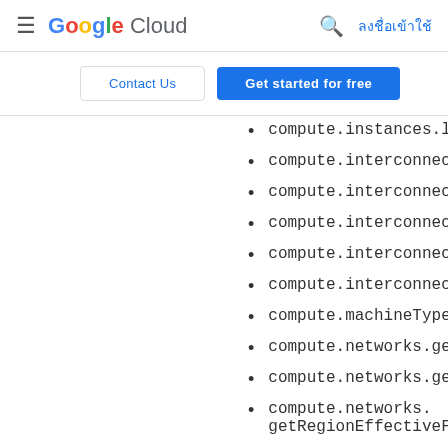Google Cloud — ลงชื่อเข้าใช้
Contact Us | Get started for free
compute.instances.l
compute.interconnec
compute.interconnec
compute.interconnec
compute.interconnec
compute.interconnec
compute.machineType
compute.networks.ge
compute.networks.ge
compute.networks.
getRegionEffectiveF